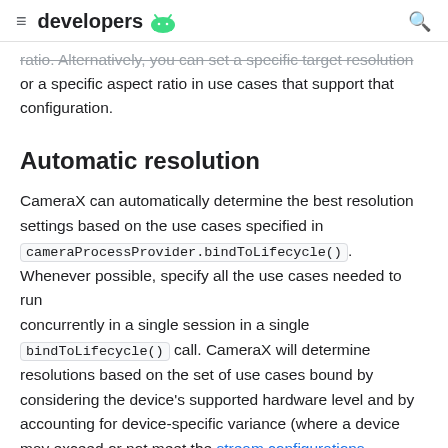developers
ratio. Alternatively, you can set a specific target resolution or a specific aspect ratio in use cases that support that configuration.
Automatic resolution
CameraX can automatically determine the best resolution settings based on the use cases specified in cameraProcessProvider.bindToLifecycle(). Whenever possible, specify all the use cases needed to run concurrently in a single session in a single bindToLifecycle() call. CameraX will determine resolutions based on the set of use cases bound by considering the device's supported hardware level and by accounting for device-specific variance (where a device may exceed or not meet the stream configurations available). The intent is to allow the application to run on a